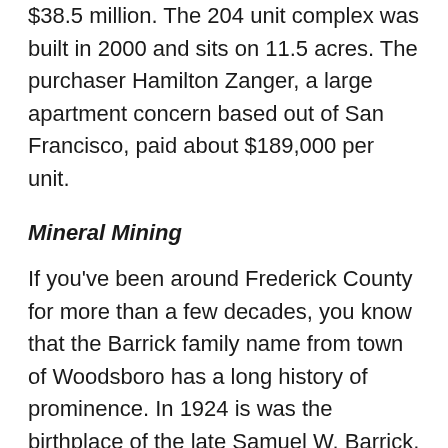$38.5 million. The 204 unit complex was built in 2000 and sits on 11.5 acres. The purchaser Hamilton Zanger, a large apartment concern based out of San Francisco, paid about $189,000 per unit.
Mineral Mining
If you've been around Frederick County for more than a few decades, you know that the Barrick family name from town of Woodsboro has a long history of prominence. In 1924 is was the birthplace of the late Samuel W. Barrick, a very popular circuit court judge serving both Frederick and Montgomery counties between 1970 and 1985. My much better half Nancy and I were proud to call Sam and his wife Joan friends for many years. In his early years, Sam spent countless hours working for the family business SW